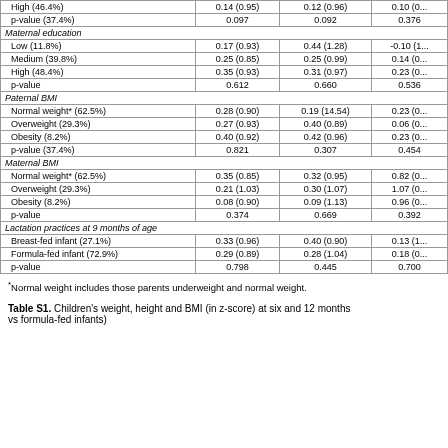|  | Column1 | Column2 | Column3 |
| --- | --- | --- | --- |
| High (46.4%) | 0.14 (0.95) | 0.12 (0.96) | 0.10 (0... |
| p-value (37.4%) | 0.097 | 0.092 | 0.376 |
| Maternal education |  |  |  |
| Low (11.8%) | 0.17 (0.93) | 0.44 (1.28) | -0.10 (1... |
| Medium (39.8%) | 0.25 (0.85) | 0.25 (0.99) | 0.14 (0... |
| High (48.4%) | 0.35 (0.93) | 0.31 (0.97) | 0.23 (0... |
| p-value | 0.612 | 0.660 | 0.536 |
| Paternal BMI |  |  |  |
| Normal weight* (62.5%) | 0.28 (0.90) | 0.19 (14.54) | 0.23 (0... |
| Overweight (29.3%) | 0.27 (0.93) | 0.40 (0.89) | 0.06 (0... |
| Obesity (8.2%) | 0.40 (0.92) | 0.42 (0.96) | 0.23 (0... |
| p-value (37.4%) | 0.821 | 0.307 | 0.454 |
| Maternal BMI |  |  |  |
| Normal weight* (62.5%) | 0.35 (0.85) | 0.32 (0.95) | 0.82 (0... |
| Overweight (29.3%) | 0.21 (1.03) | 0.30 (1.07) | 1.07 (0... |
| Obesity (8.2%) | 0.08 (0.90) | 0.09 (1.13) | 0.96 (0... |
| p-value | 0.374 | 0.669 | 0.392 |
| Lactation practices at 9 months of age |  |  |  |
| Breast-fed infant (27.1%) | 0.33 (0.96) | 0.40 (0.90) | 0.13 (1... |
| Formula-fed infant (72.9%) | 0.29 (0.89) | 0.28 (1.04) | 0.18 (0... |
| p-value | 0.798 | 0.445 | 0.700 |
*Normal weight includes those parents underweight and normal weight.
Table S1. Children's weight, height and BMI (in z-score) at six and 12 months vs formula-fed infants)